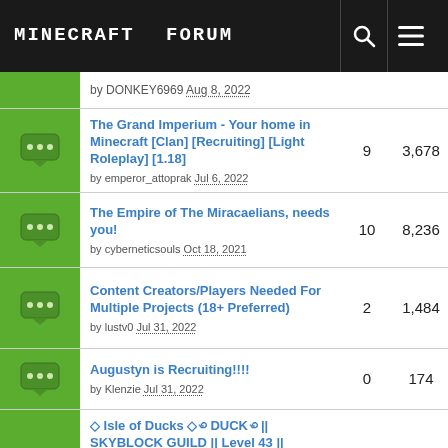Minecraft Forum
by DONKEY6969 Aug 8, 2022
The Grand Imperium - Your home in Minecraft [Clan] [Recruiting] [Light Roleplay] [1.18] by emperor_attoprak Jul 6, 2022 | replies: 9 | views: 3,678
The Empire of The Miracaelians, needs you! by cyberneticsouls Oct 18, 2021 | replies: 10 | views: 8,236
Content Creators/Players Needed For Multiple Projects (18+ Preferred) by lustv0 Jul 31, 2022 | replies: 2 | views: 1,484
Augustyn is Recruiting!!!! by Klenzie Jul 31, 2022 | replies: 0 | views: 174
◇ Isle of Ducks ◇꩜DUCK꩜|| SKYBLOCK GUILD || Level 43 || ♥Reqs: skill avg 35, APIs on, 50k weekly gexp♥ || PUBLIC DISCORD || Give by TYYAW Jul 31, 2022 | replies: 0 | views: 184
Kingdom of Endor is searching for